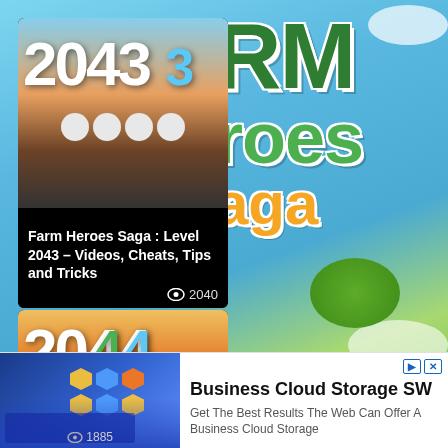[Figure (screenshot): Farm Heroes Saga game app page showing two video thumbnails on the left (Level 2043 and Level 2044) and the Farm Heroes Saga logo on the right side with blue sky and green landscape background]
Farm Heroes Saga : Level 2043 – Videos, Cheats, Tips and Tricks
2040 views
[Figure (screenshot): Second game thumbnail showing Farm Heroes Saga Level 2044 with fruit/collectible row at bottom, view count 1885]
[Figure (screenshot): Advertisement banner: Business Cloud Storage SW - Get The Best Results The Web Can Offer A Business Cloud Storage, with keyboard/tech image on left and ad label markers]
Business Cloud Storage SW
Get The Best Results The Web Can Offer A
Business Cloud Storage